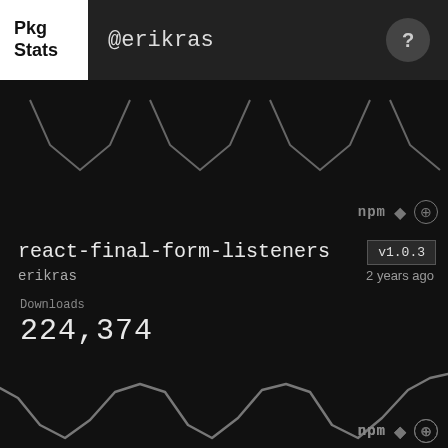Pkg Stats @erikras
[Figure (continuous-plot): Sparkline chart showing download activity, dark background with grey line, valley shapes visible at top of page]
npm ◆ ⊕
react-final-form-listeners
v1.0.3
erikras
2 years ago
Downloads
224,374
[Figure (continuous-plot): Sparkline chart showing download activity over time with wave pattern, grey line on dark background]
npm ◆ ⊕
final-form-set-field-touched
v1.0.1
erikras
4 years ago